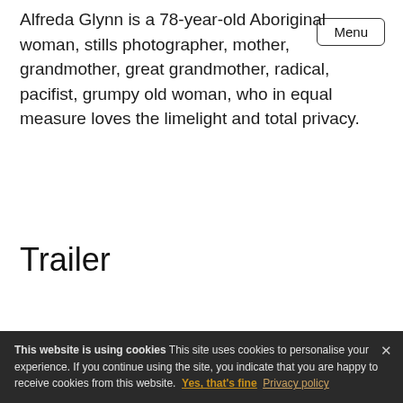Menu
Alfreda Glynn is a 78-year-old Aboriginal woman, stills photographer, mother, grandmother, great grandmother, radical, pacifist, grumpy old woman, who in equal measure loves the limelight and total privacy.
Trailer
This website is using cookies This site uses cookies to personalise your experience. If you continue using the site, you indicate that you are happy to receive cookies from this website. Yes, that's fine Privacy policy